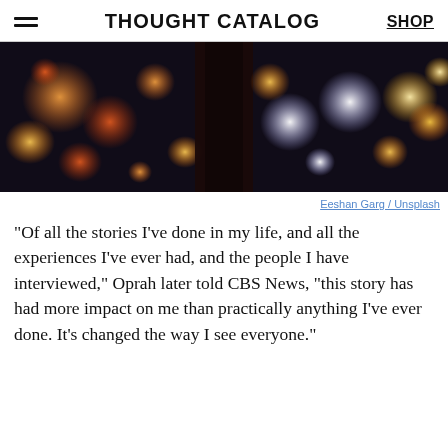THOUGHT CATALOG   SHOP
[Figure (photo): Bokeh night photograph with blurred colorful lights (orange, white) on dark background, with a dark bottle silhouette in center]
Eeshan Garg / Unsplash
“Of all the stories I’ve done in my life, and all the experiences I’ve ever had, and the people I have interviewed,” Oprah later told CBS News, “this story has had more impact on me than practically anything I’ve ever done. It’s changed the way I see everyone.”